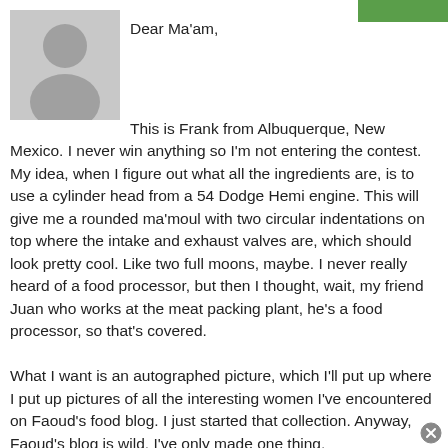[Figure (illustration): Gray placeholder avatar icon showing a silhouette of a person (head and shoulders) on a light gray background]
Dear Ma'am,

This is Frank from Albuquerque, New Mexico. I never win anything so I'm not entering the contest. My idea, when I figure out what all the ingredients are, is to use a cylinder head from a 54 Dodge Hemi engine. This will give me a rounded ma'moul with two circular indentations on top where the intake and exhaust valves are, which should look pretty cool. Like two full moons, maybe. I never really heard of a food processor, but then I thought, wait, my friend Juan who works at the meat packing plant, he's a food processor, so that's covered.

What I want is an autographed picture, which I'll put up where I put up pictures of all the interesting women I've encountered on Faoud's food blog. I just started that collection. Anyway, Faoud's blog is wild. I've only made one thing,